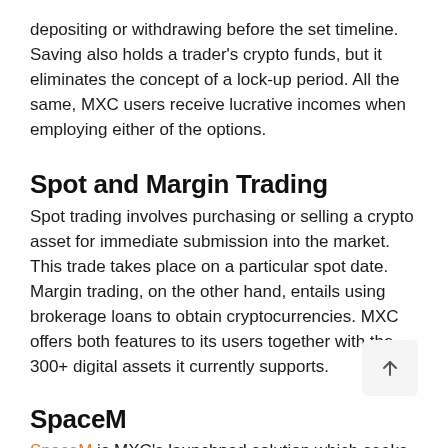depositing or withdrawing before the set timeline. Saving also holds a trader's crypto funds, but it eliminates the concept of a lock-up period. All the same, MXC users receive lucrative incomes when employing either of the options.
Spot and Margin Trading
Spot trading involves purchasing or selling a crypto asset for immediate submission into the market. This trade takes place on a particular spot date. Margin trading, on the other hand, entails using brokerage loans to obtain cryptocurrencies. MXC offers both features to its users together with the 300+ digital assets it currently supports.
SpaceM
SpaceM is MXC's launchpad solution which seeks to